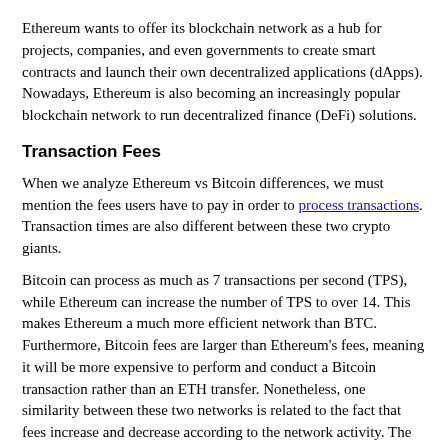Ethereum wants to offer its blockchain network as a hub for projects, companies, and even governments to create smart contracts and launch their own decentralized applications (dApps). Nowadays, Ethereum is also becoming an increasingly popular blockchain network to run decentralized finance (DeFi) solutions.
Transaction Fees
When we analyze Ethereum vs Bitcoin differences, we must mention the fees users have to pay in order to process transactions. Transaction times are also different between these two crypto giants.
Bitcoin can process as much as 7 transactions per second (TPS), while Ethereum can increase the number of TPS to over 14. This makes Ethereum a much more efficient network than BTC. Furthermore, Bitcoin fees are larger than Ethereum's fees, meaning it will be more expensive to perform and conduct a Bitcoin transaction rather than an ETH transfer. Nonetheless, one similarity between these two networks is related to the fact that fees increase and decrease according to the network activity. The larger the activity, the higher the fees will be to process a transaction.